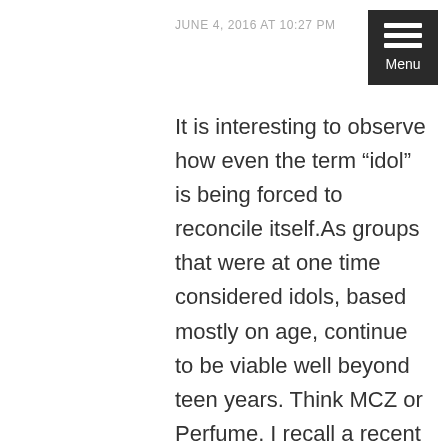JUNE 4, 2016 AT 10:27 PM
It is interesting to observe how even the term “idol” is being forced to reconcile itself.As groups that were at one time considered idols, based mostly on age, continue to be viable well beyond teen years. Think MCZ or Perfume. I recall a recent conversation between yourself and a commenter relaying info about a groups age. noting that, in their view, 20yrs old, is old for an idol. That seems very restrictive and outdated.I’ve never been one to like labels anyway. As far as the band discussion goes pertaining to your